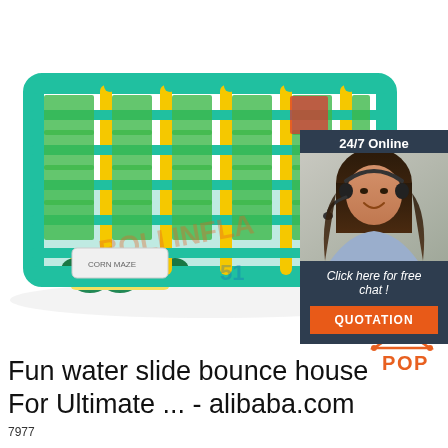[Figure (photo): Large colorful inflatable maze/bounce house in teal, yellow, and green colors with corn-themed entrance features]
[Figure (photo): Chat widget overlay with woman wearing headset, '24/7 Online' header, 'Click here for free chat!' text, and orange QUOTATION button]
Fun water slide bounce house For Ultimate ... - alibaba.com
7977